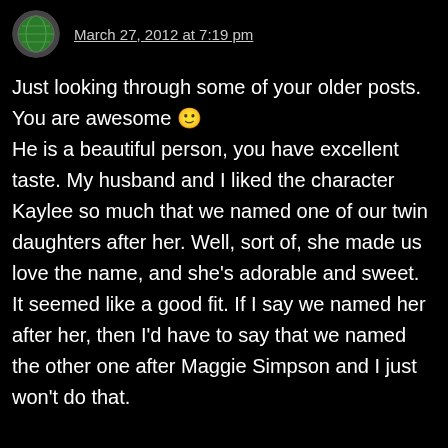March 27, 2012 at 7:19 pm
Just looking through some of your older posts. You are awesome 🙂 He is a beautiful person, you have excellent taste. My husband and I liked the character Kaylee so much that we named one of our twin daughters after her. Well, sort of, she made us love the name, and she's adorable and sweet. It seemed like a good fit. If I say we named her after her, then I'd have to say that we named the other one after Maggie Simpson and I just won't do that.